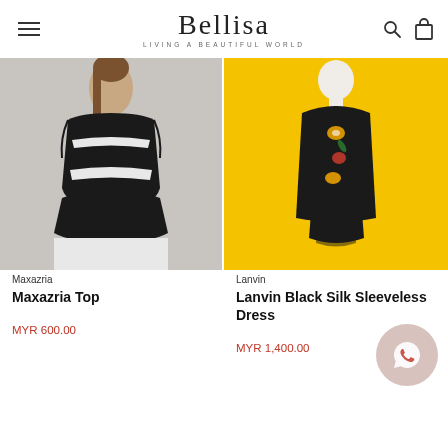Bellisa — LIVING A BEAUTIFUL WORLD
[Figure (photo): Black and white sleeveless peplum top on a model, light grey background]
[Figure (photo): Black sleeveless dress with floral scarf on a mannequin, yellow background]
Maxazria
Maxazria Top
MYR 600.00
Lanvin
Lanvin Black Silk Sleeveless Dress
MYR 1,400.00